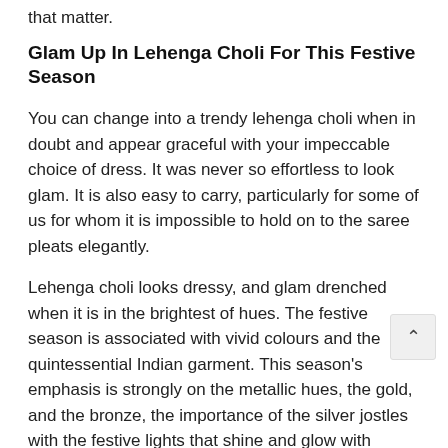that matter.
Glam Up In Lehenga Choli For This Festive Season
You can change into a trendy lehenga choli when in doubt and appear graceful with your impeccable choice of dress. It was never so effortless to look glam. It is also easy to carry, particularly for some of us for whom it is impossible to hold on to the saree pleats elegantly.
Lehenga choli looks dressy, and glam drenched when it is in the brightest of hues. The festive season is associated with vivid colours and the quintessential Indian garment. This season's emphasis is strongly on the metallic hues, the gold, and the bronze, the importance of the silver jostles with the festive lights that shine and glow with unparalleled zeal.
In addition to the usual bold colours, the pastel shades